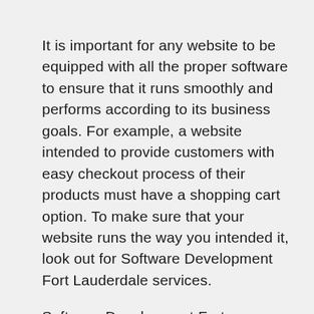It is important for any website to be equipped with all the proper software to ensure that it runs smoothly and performs according to its business goals. For example, a website intended to provide customers with easy checkout process of their products must have a shopping cart option. To make sure that your website runs the way you intended it, look out for Software Development Fort Lauderdale services.
Software Development Fort Lauderdale is defined as the process of developing software in an orderly way. Software doesn't just come together magically – there is a lot of phases to go through in order to come up with a software that delivers what it promises. If you want the services of a company that follows all the